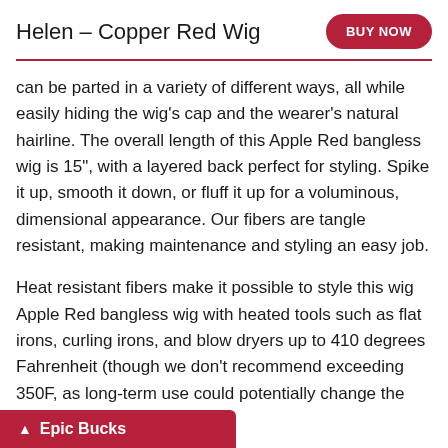Helen - Copper Red Wig
can be parted in a variety of different ways, all while easily hiding the wig's cap and the wearer's natural hairline. The overall length of this Apple Red bangless wig is 15", with a layered back perfect for styling. Spike it up, smooth it down, or fluff it up for a voluminous, dimensional appearance. Our fibers are tangle resistant, making maintenance and styling an easy job.
Heat resistant fibers make it possible to style this wig Apple Red bangless wig with heated tools such as flat irons, curling irons, and blow dryers up to 410 degrees Fahrenheit (though we don't recommend exceeding 350F, as long-term use could potentially change the